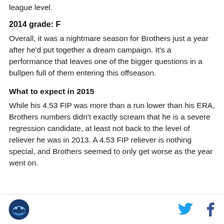league level.
2014 grade: F
Overall, it was a nightmare season for Brothers just a year after he'd put together a dream campaign. It's a performance that leaves one of the bigger questions in a bullpen full of them entering this offseason.
What to expect in 2015
While his 4.53 FIP was more than a run lower than his ERA, Brothers numbers didn't exactly scream that he is a severe regression candidate, at least not back to the level of reliever he was in 2013. A 4.53 FIP reliever is nothing special, and Brothers seemed to only get worse as the year went on.
Logo and social share icons